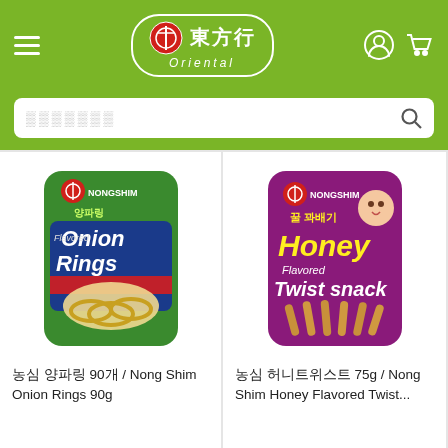Oriental 東方行 — navigation header with menu, logo, user and cart icons
Search bar (placeholder text)
[Figure (photo): Nong Shim Onion Rings 90g snack package — green bag]
농심 양파링 90개 / Nong Shim Onion Rings 90g
€3.49 — Add to cart button
[Figure (photo): Nong Shim Honey Flavored Twist Snack 75g package — purple bag]
농심 허니트위스트 75g / Nong Shim Honey Flavored Twist...
€1.85 — Add to cart button